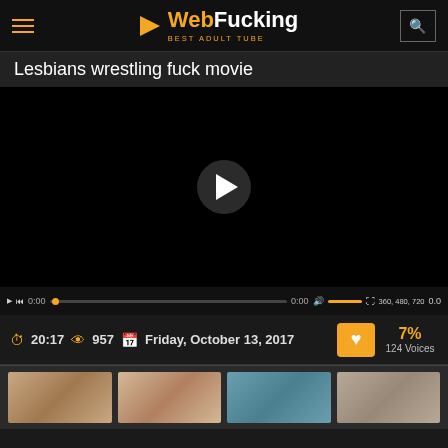WebFucking — BEST ADULT TUBE
Lesbians wrestling fuck movie
[Figure (screenshot): Video player showing a black screen with a play button in the center and a controls bar at the bottom showing: play, rewind, 0:00 timestamp, progress bar, 0:00, volume, fullscreen, quality (360, 480, 720), speed (0.0)]
⏱ 20:17  👁 957  📅 Friday, October 13, 2017  ❤ 7% 124 Voices
[Figure (photo): Row of video thumbnails showing people]